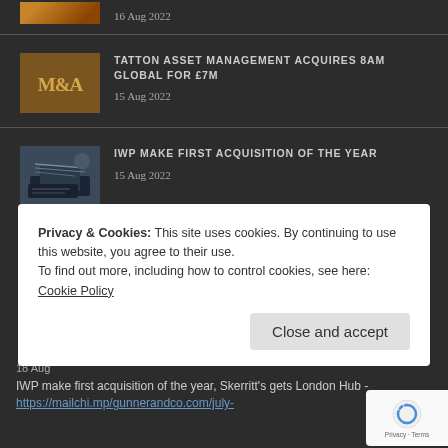16 Aug 2022
[Figure (photo): M&A themed image with text M&A on wooden background]
TATTON ASSET MANAGEMENT ACQUIRES 8AM GLOBAL FOR £7M
15 Aug 2022
[Figure (photo): Person writing on laptop, business/finance meeting scene]
IWP MAKE FIRST ACQUISITION OF THE YEAR
15 Aug 2022
Privacy & Cookies: This site uses cookies. By continuing to use this website, you agree to their use.
To find out more, including how to control cookies, see here: Cookie Policy
Close and accept
18 Aug
IWP make first acquisition of the year, Skerritt's gets London Hub - https://mailchi.mp/gunnerandco.com/july-